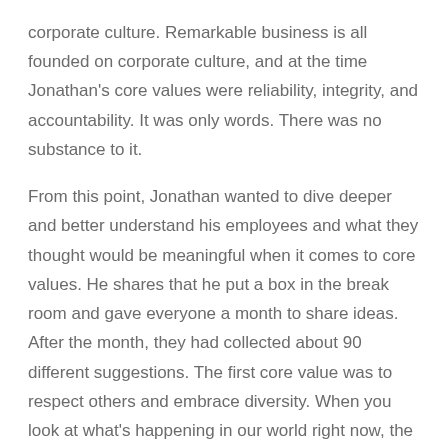corporate culture. Remarkable business is all founded on corporate culture, and at the time Jonathan's core values were reliability, integrity, and accountability. It was only words. There was no substance to it.

From this point, Jonathan wanted to dive deeper and better understand his employees and what they thought would be meaningful when it comes to core values. He shares that he put a box in the break room and gave everyone a month to share ideas. After the month, they had collected about 90 different suggestions. The first core value was to respect others and embrace diversity. When you look at what's happening in our world right now, the best thing Jonathon felt he could do was to make Coastal Payroll a utopian environment. They hold themselves accountable to living their core values every day and it's the foundation of their culture. This has